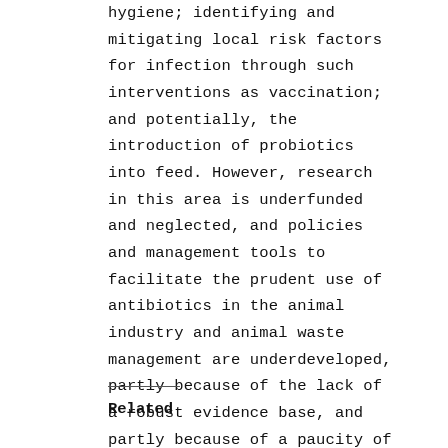hygiene; identifying and mitigating local risk factors for infection through such interventions as vaccination; and potentially, the introduction of probiotics into feed. However, research in this area is underfunded and neglected, and policies and management tools to facilitate the prudent use of antibiotics in the animal industry and animal waste management are underdeveloped, partly because of the lack of a robust evidence base, and partly because of a paucity of studies to demonstrate the cost-effectiveness of interventions.
Related